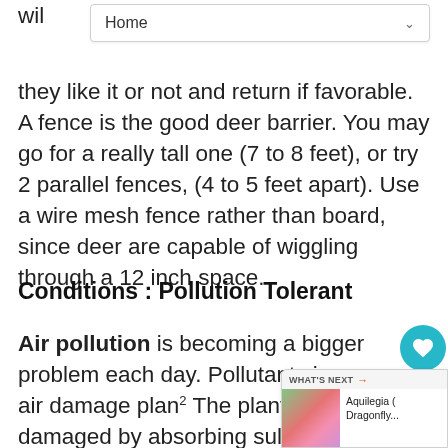Home
will ... they like it or not and return if favorable. A fence is the good deer barrier. You may go for a really tall one (7 to 8 feet), or try 2 parallel fences, (4 to 5 feet apart). Use a wire mesh fence rather than board, since deer are capable of wiggling through a 12 inch space.
Conditions : Pollution Tolerant
Air pollution is becoming a bigger problem each day. Pollutants in our air damage plants. The plants are damaged by absorbing sulfur dioxide, ozone, peroxyacetyl nitrate, ethylene and nitrogen dioxide through their pores. The membrane damage may result in leaf drop,